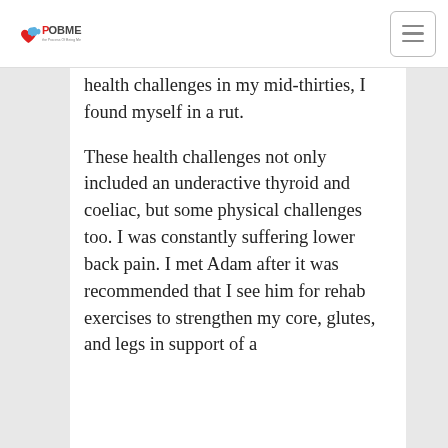POBME - The Process Of Being Me
health challenges in my mid-thirties, I found myself in a rut.
These health challenges not only included an underactive thyroid and coeliac, but some physical challenges too. I was constantly suffering lower back pain. I met Adam after it was recommended that I see him for rehab exercises to strengthen my core, glutes, and legs in support of a